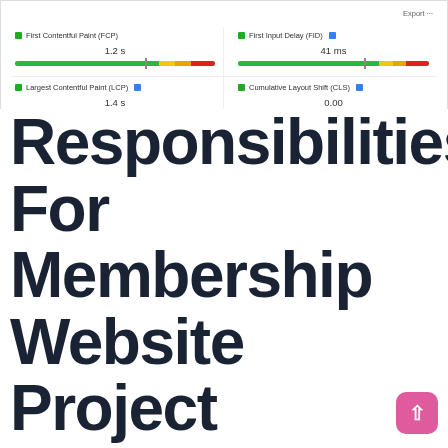[Figure (screenshot): Web performance metrics panel showing Core Web Vitals: First Contentful Paint (FCP) 1.2s, First Input Delay (FID) 41ms, Largest Contentful Paint (LCP) 1.4s, Cumulative Layout Shift (CLS) 0.00, each with a colored progress bar gauge and an Export button in the top right.]
Responsibilities For Membership Website Project